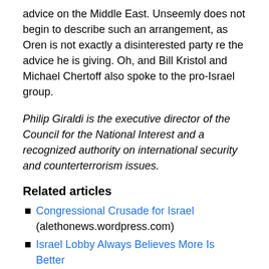advice on the Middle East. Unseemly does not begin to describe such an arrangement, as Oren is not exactly a disinterested party re the advice he is giving. Oh, and Bill Kristol and Michael Chertoff also spoke to the pro-Israel group.
Philip Giraldi is the executive director of the Council for the National Interest and a recognized authority on international security and counterterrorism issues.
Related articles
Congressional Crusade for Israel (alethonews.wordpress.com)
Israel Lobby Always Believes More Is Better (alethonews.wordpress.com)
The Israel Lobby Never Sleeps (alethonews.wordpress.com)